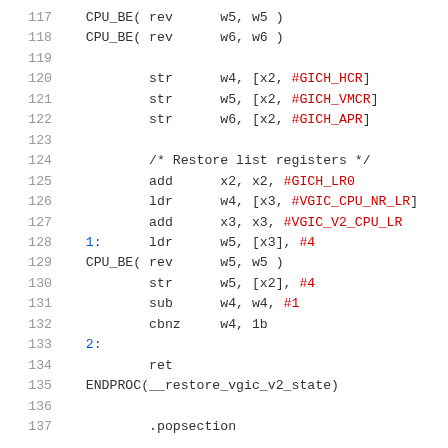Assembly source code lines 117–137 showing CPU_BE macros, str/ldr/add/sub/cbnz instructions, label references, GICH register offsets, and ENDPROC for __restore_vgic_v2_state